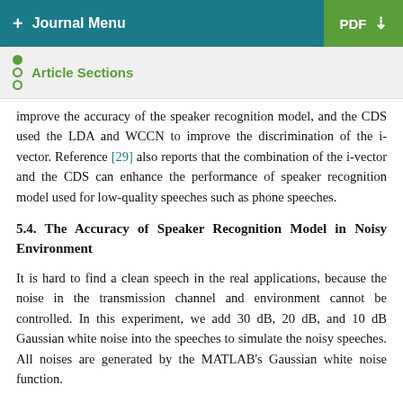+ Journal Menu   PDF ↓
Article Sections
improve the accuracy of the speaker recognition model, and the CDS used the LDA and WCCN to improve the discrimination of the i-vector. Reference [29] also reports that the combination of the i-vector and the CDS can enhance the performance of speaker recognition model used for low-quality speeches such as phone speeches.
5.4. The Accuracy of Speaker Recognition Model in Noisy Environment
It is hard to find a clean speech in the real applications, because the noise in the transmission channel and environment cannot be controlled. In this experiment, we add 30 dB, 20 dB, and 10 dB Gaussian white noise into the speeches to simulate the noisy speeches. All noises are generated by the MATLAB's Gaussian white noise function.
For comparison, this experiment employed three i-vector based